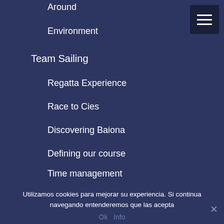Around
Environment
Team Sailing
Regatta Experience
Race to Cies
Discovering Baiona
Defining our course
Time management
Skipper coach
Schedule
Utilizamos cookies para mejorar su experiencia. Si continua navegando entenderemos que las acepta
Ok   Info